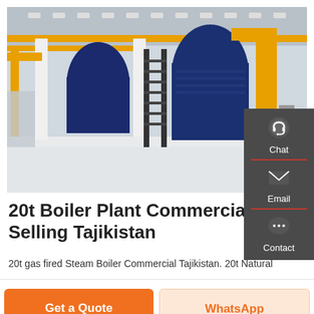[Figure (photo): Industrial boiler plant interior with large blue boiler vessels, yellow pipes and staircases in a factory setting]
20t Boiler Plant Commercial Best Selling Tajikistan
20t gas fired Steam Boiler Commercial Tajikistan. 20t Natural
Get a Quote
WhatsApp